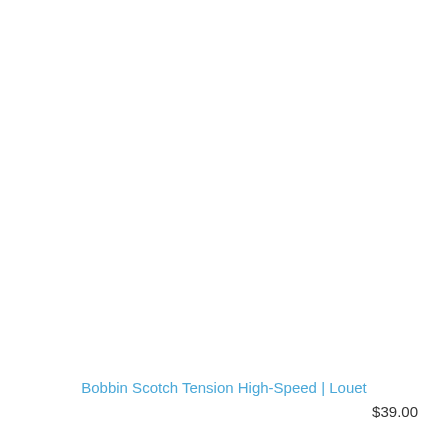Bobbin Scotch Tension High-Speed | Louet
$39.00